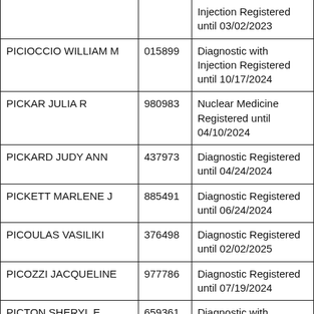| Name | ID | Registration |
| --- | --- | --- |
|  |  | Injection Registered until 03/02/2023 |
| PICIOCCIO WILLIAM M | 015899 | Diagnostic with Injection Registered until 10/17/2024 |
| PICKAR JULIA R | 980983 | Nuclear Medicine Registered until 04/10/2024 |
| PICKARD JUDY ANN | 437973 | Diagnostic Registered until 04/24/2024 |
| PICKETT MARLENE J | 885491 | Diagnostic Registered until 06/24/2024 |
| PICOULAS VASILIKI | 376498 | Diagnostic Registered until 02/02/2025 |
| PICOZZI JACQUELINE | 977786 | Diagnostic Registered until 07/19/2024 |
| PICTON SHERYL E | 659361 | Diagnostic with Injection Registered until 06/29/2025 |
| PIDOTO ABIGAIL C | 422541 | Nuclear Medicine |